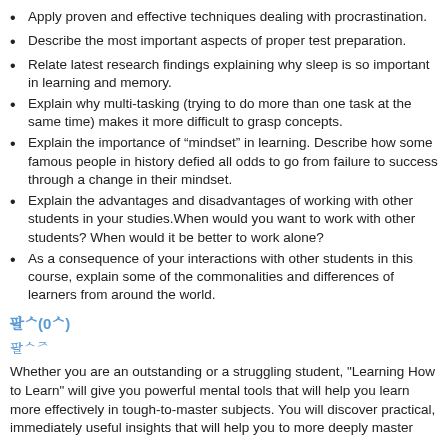Apply proven and effective techniques dealing with procrastination.
Describe the most important aspects of proper test preparation.
Relate latest research findings explaining why sleep is so important in learning and memory.
Explain why multi-tasking (trying to do more than one task at the same time) makes it more difficult to grasp concepts.
Explain the importance of “mindset” in learning. Describe how some famous people in history defied all odds to go from failure to success through a change in their mindset.
Explain the advantages and disadvantages of working with other students in your studies.When would you want to work with other students? When would it be better to work alone?
As a consequence of your interactions with other students in this course, explain some of the commonalities and differences of learners from around the world.
팔ᄉ(0ᄉ)
팔ᄉᅎ
Whether you are an outstanding or a struggling student, "Learning How to Learn" will give you powerful mental tools that will help you learn more effectively in tough-to-master subjects. You will discover practical, immediately useful insights that will help you to more deeply master